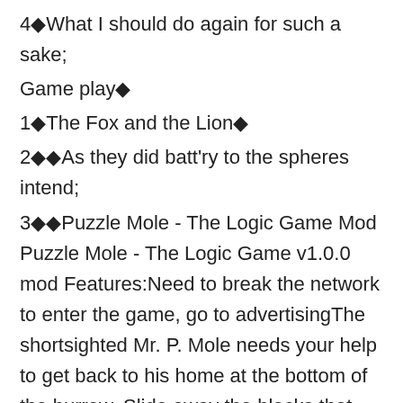4◆What I should do again for such a sake;
Game play◆
1◆The Fox and the Lion◆
2◆◆As they did batt'ry to the spheres intend;
3◆◆Puzzle Mole - The Logic Game Mod Puzzle Mole - The Logic Game v1.0.0 mod Features:Need to break the network to enter the game, go to advertisingThe shortsighted Mr. P. Mole needs your help to get back to his home at the bottom of the burrow. Slide away the blocks that hinders his path and get him all the vegetables on the way home before they rot! Be careful to avoid those annoying scorpions, bats and spiders!Exercise and test your brainpower In this unique sliding block logic game where you don't control the main character, but his surroundings instead. Explore 60 levels of increasing difficulty, unlock new worlds with new game mechanics, and get hooked with this awesome puzzle game.How to play:-Guide Mr. P. Mole safely to the red door-Horizontal Blocks can be moved left and right Vertical Blocks can